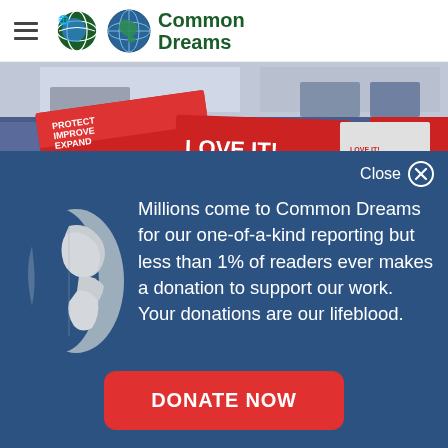Common Dreams
[Figure (photo): Protest scene with red signs reading 'Protect Improve Expand Medicare For All' and 'Love It! Improve Medicare For All']
Close
[Figure (illustration): Globe/earth icon illustration in light gray]
Millions come to Common Dreams for our one-of-a-kind reporting but less than 1% of readers ever makes a donation to support our work. Your donations are our lifeblood.
DONATE NOW